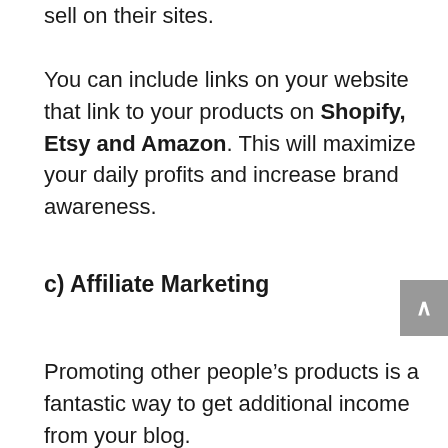sell on their sites.

You can include links on your website that link to your products on Shopify, Etsy and Amazon. This will maximize your daily profits and increase brand awareness.
c) Affiliate Marketing
Promoting other people's products is a fantastic way to get additional income from your blog.